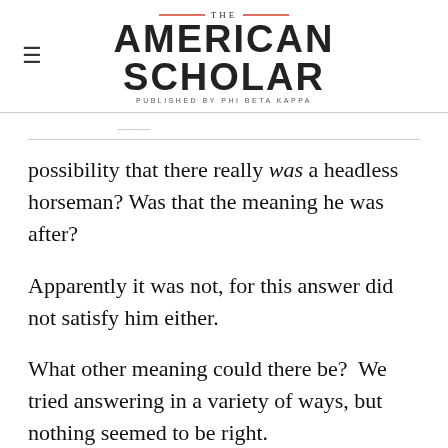THE AMERICAN SCHOLAR — PUBLISHED BY PHI BETA KAPPA
possibility that there really was a headless horseman? Was that the meaning he was after?
Apparently it was not, for this answer did not satisfy him either.
What other meaning could there be?  We tried answering in a variety of ways, but nothing seemed to be right.
Thinking back, I wonder if Mr. P__ had something